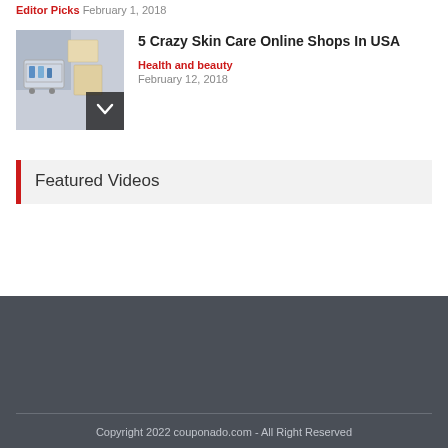Editor Picks  February 1, 2018
[Figure (photo): Shopping cart with skin care products on a desk, thumbnail image with chevron overlay]
5 Crazy Skin Care Online Shops In USA
Health and beauty
February 12, 2018
Featured Videos
Copyright 2022 couponado.com - All Right Reserved